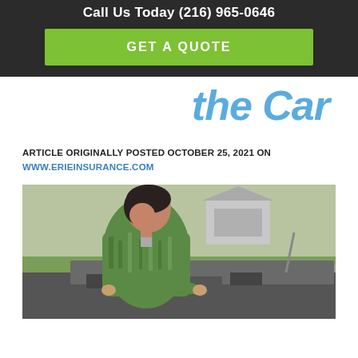Call Us Today (216) 965-0646
GET A QUOTE
the Car
ARTICLE ORIGINALLY POSTED OCTOBER 25, 2021 ON WWW.ERIEINSURANCE.COM
[Figure (photo): Woman in green top leaning over open car hood, inspecting engine in a driveway with green grass in background]